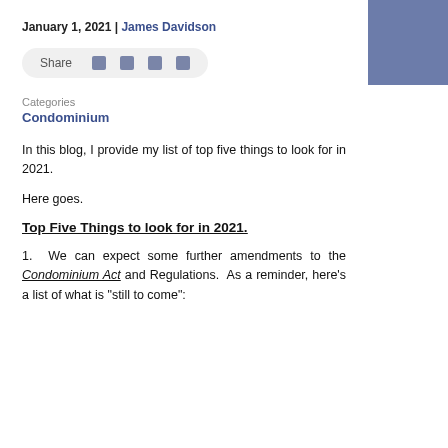January 1, 2021 | James Davidson
[Figure (other): Share bar with social media icons]
Categories
Condominium
In this blog, I provide my list of top five things to look for in 2021.
Here goes.
Top Five Things to look for in 2021.
1.  We can expect some further amendments to the Condominium Act and Regulations.  As a reminder, here’s a list of what is “still to come”: